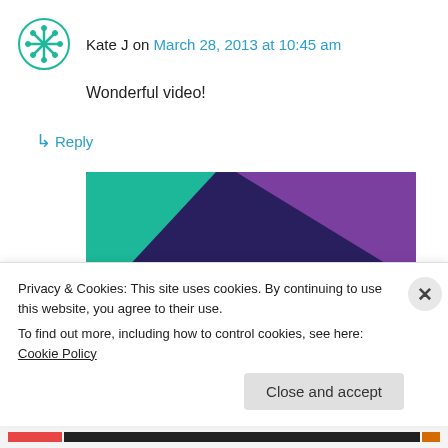Kate J on March 28, 2013 at 10:45 am
Wonderful video!
↳ Reply
[Figure (illustration): Advertisement banner with dark purple background, green triangle top-left, purple triangle top-right, cyan circle bottom-right, bold white text reading 'Turn your hobby into a business in 8 steps']
Privacy & Cookies: This site uses cookies. By continuing to use this website, you agree to their use.
To find out more, including how to control cookies, see here: Cookie Policy
Close and accept